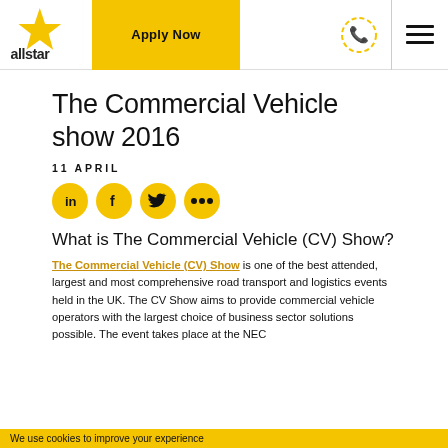allstar business solutions | Apply Now | [phone icon] | [menu icon]
The Commercial Vehicle show 2016
11 APRIL
[Figure (other): Four yellow circular social media icons: LinkedIn, Facebook, Twitter, and a more options (ellipsis) button]
What is The Commercial Vehicle (CV) Show?
The Commercial Vehicle (CV) Show is one of the best attended, largest and most comprehensive road transport and logistics events held in the UK. The CV Show aims to provide commercial vehicle operators with the largest choice of business sector solutions possible. The event takes place at the NEC
We use cookies to improve your experience